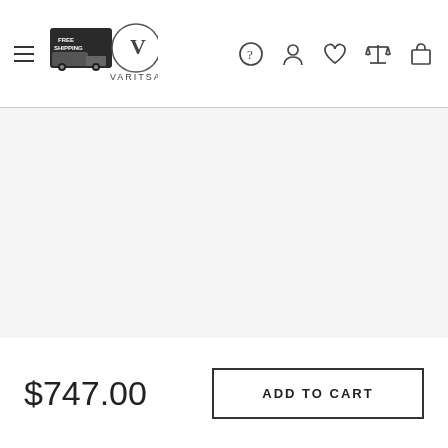VARITSA — navigation header with menu, free shipping logo, help, account, wishlist, compare, cart icons
[Figure (photo): Product image area — large white/light gray empty product display area]
$747.00
ADD TO CART